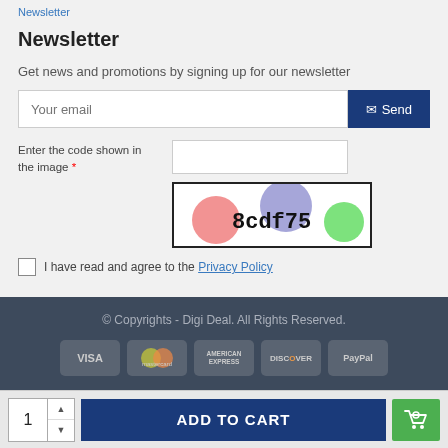Newsletter
Newsletter
Get news and promotions by signing up for our newsletter
Your email [input] Send
Enter the code shown in the image
[Figure (other): CAPTCHA image showing colored circles and text '8cdf75']
I have read and agree to the Privacy Policy
© Copyrights - Digi Deal. All Rights Reserved. [VISA] [Mastercard] [American Express] [Discover] [PayPal]
1  ADD TO CART [cart icon]